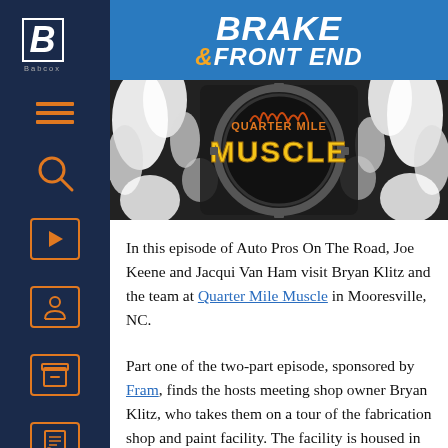BRAKE & FRONT END
[Figure (photo): Quarter Mile Muscle logo/banner with black and white checkered flag design and orange flame lettering on a dark metallic background]
In this episode of Auto Pros On The Road, Joe Keene and Jacqui Van Ham visit Bryan Klitz and the team at Quarter Mile Muscle in Mooresville, NC.
Part one of the two-part episode, sponsored by Fram, finds the hosts meeting shop owner Bryan Klitz, who takes them on a tour of the fabrication shop and paint facility. The facility is housed in former NASCAR driver Jimmy Spencer's race shop. During the tour, we see many iconic cars,